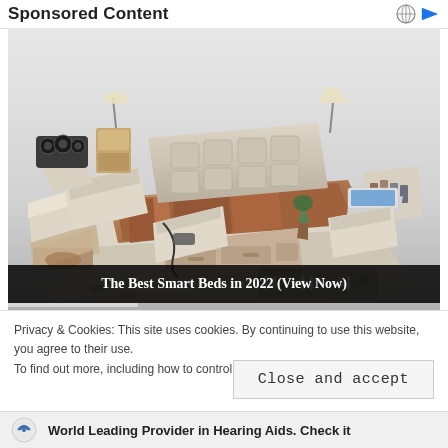Sponsored Content
[Figure (photo): Photo of a luxury multi-functional smart bed with built-in speakers, drawers, massage chair, laptop stand, and storage compartments. Media playback controls and progress bar overlaid at the bottom.]
The Best Smart Beds in 2022 (View Now)
Privacy & Cookies: This site uses cookies. By continuing to use this website, you agree to their use.
To find out more, including how to control cookies, see here: Cookie Policy
Close and accept
World Leading Provider in Hearing Aids. Check it